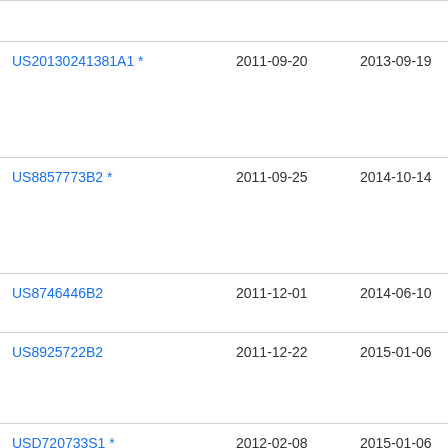| Publication number | Filing date | Publication date | Assignee |
| --- | --- | --- | --- |
| US20130241381A1 * | 2011-09-20 | 2013-09-19 | Spe
Pro
Llc |
| US8857773B2 * | 2011-09-25 | 2014-10-14 | Jtk |
| US8746446B2 | 2011-12-01 | 2014-06-10 | Htc |
| US8925722B2 | 2011-12-22 | 2015-01-06 | Thu
Orc
Sol |
| USD720733S1 * | 2012-02-08 | 2015-01-06 | Inc
Tec
Inc |
| USD713402S1 | 2012-03-06 | 2014-09-16 | App |
| USD696253S1 | 2012-03-06 | 2013-12-24 | App |